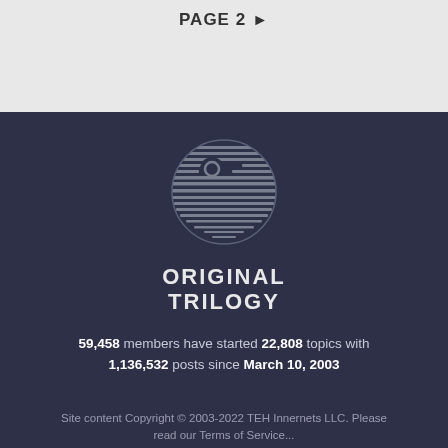PAGE 2 ▶
[Figure (logo): Original Trilogy logo: a Death Star-like circular icon made of horizontal lines with a notch, rendered in muted blue-gray on dark background]
ORIGINAL TRILOGY
59,458 members have started 22,808 topics with 1,136,532 posts since March 10, 2003
Site content Copyright © 2003-2022 TEH Innernets LLC. Please read our Terms of Service...